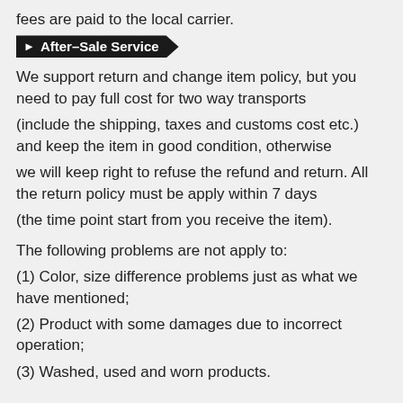fees are paid to the local carrier.
After-Sale Service
We support return and change item policy, but you need to pay full cost for two way transports
(include the shipping, taxes and customs cost etc.) and keep the item in good condition, otherwise
we will keep right to refuse the refund and return. All the return policy must be apply within 7 days
(the time point start from you receive the item).
The following problems are not apply to:
(1) Color, size difference problems just as what we have mentioned;
(2) Product with some damages due to incorrect operation;
(3) Washed, used and worn products.